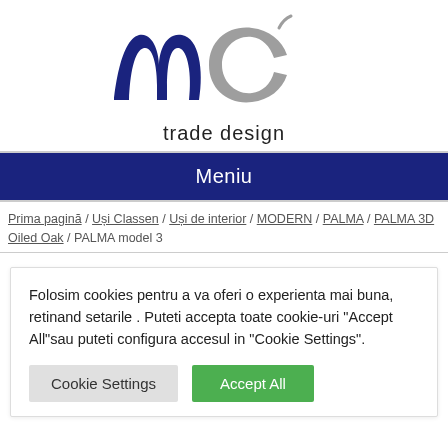[Figure (logo): MC Trade Design logo with stylized blue and gray letters 'mc' and text 'trade design' below]
Meniu
Prima pagină / Uși Classen / Uși de interior / MODERN / PALMA / PALMA 3D Oiled Oak / PALMA model 3
Folosim cookies pentru a va oferi o experienta mai buna, retinand setarile . Puteti accepta toate cookie-uri "Accept All"sau puteti configura accesul in "Cookie Settings".
Cookie Settings | Accept All